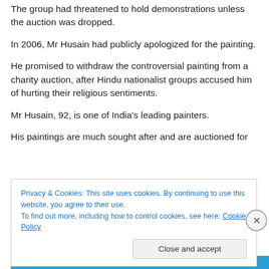The group had threatened to hold demonstrations unless the auction was dropped.
In 2006, Mr Husain had publicly apologized for the painting.
He promised to withdraw the controversial painting from a charity auction, after Hindu nationalist groups accused him of hurting their religious sentiments.
Mr Husain, 92, is one of India's leading painters.
His paintings are much sought after and are auctioned for
Privacy & Cookies: This site uses cookies. By continuing to use this website, you agree to their use.
To find out more, including how to control cookies, see here: Cookie Policy
Close and accept